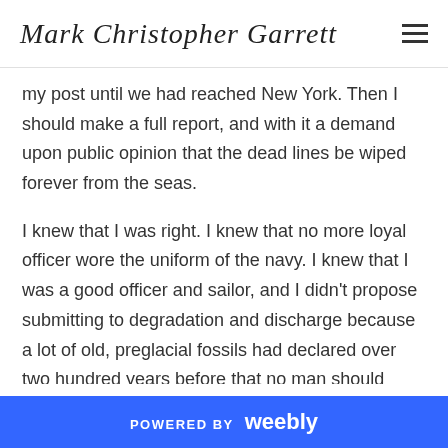Mark Christopher Garrett
my post until we had reached New York. Then I should make a full report, and with it a demand upon public opinion that the dead lines be wiped forever from the seas.
I knew that I was right. I knew that no more loyal officer wore the uniform of the navy. I knew that I was a good officer and sailor, and I didn't propose submitting to degradation and discharge because a lot of old, preglacial fossils had declared over two hundred years before that no man should cross thirty.
Even while these thoughts were passing through my mind
POWERED BY weebly